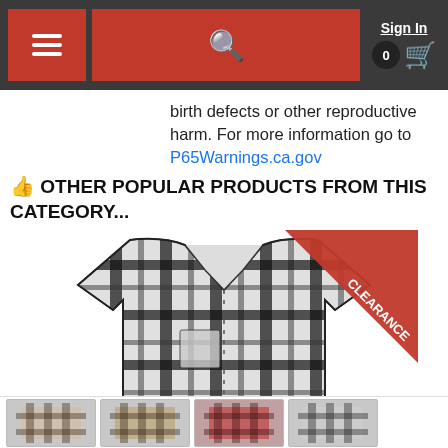Sign In  0 [cart]
birth defects or other reproductive harm. For more information go to P65Warnings.ca.gov
👍 OTHER POPULAR PRODUCTS FROM THIS CATEGORY...
[Figure (photo): Black and white plaid flannel shirt with Clearance ribbon badge in top right corner]
[Figure (photo): Thumbnail product images at bottom of page]